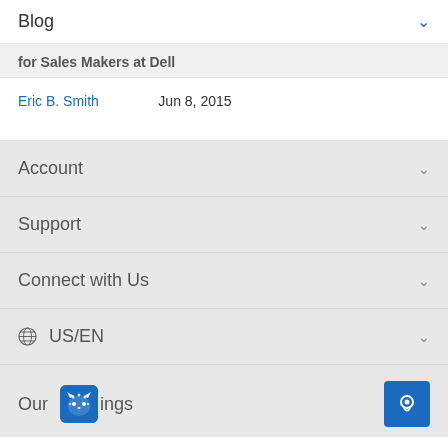Blog
for Sales Makers at Dell
Eric B. Smith   Jun 8, 2015
Account
Support
Connect with Us
US/EN
Our Offerings